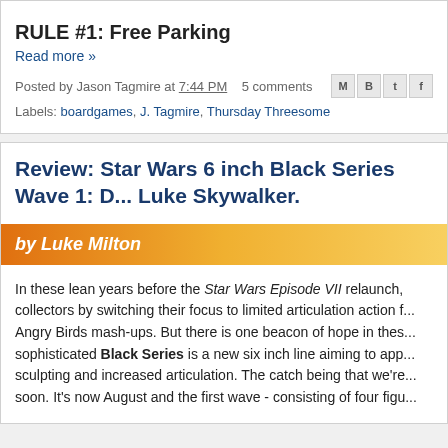RULE #1: Free Parking
Read more »
Posted by Jason Tagmire at 7:44 PM    5 comments
Labels: boardgames, J. Tagmire, Thursday Threesome
Review: Star Wars 6 inch Black Series Wave 1: D... Luke Skywalker.
by Luke Milton
In these lean years before the Star Wars Episode VII relaunch, collectors by switching their focus to limited articulation action f... Angry Birds mash-ups. But there is one beacon of hope in thes... sophisticated Black Series is a new six inch line aiming to app... sculpting and increased articulation. The catch being that we're... soon. It's now August and the first wave - consisting of four figu...